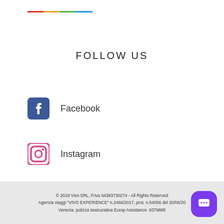FOLLOW US
Facebook
Instagram
Youtube
© 2019 Vivo SRL, P.Iva 04383730274 - All Rights Reserved Agenzia viaggi "VIVO EXPERIENCE" n.2466/2017, prot. n.54056 del 20/06/20... Venezia. polizza assicurativa Europ Assistance .9379885